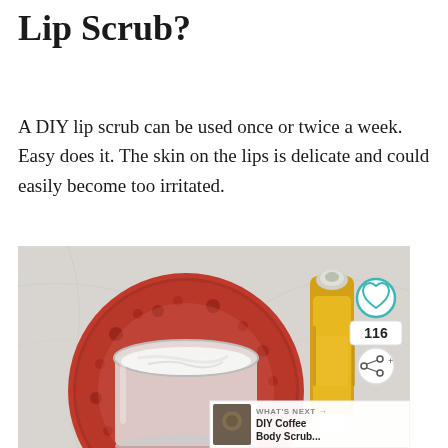Lip Scrub?
A DIY lip scrub can be used once or twice a week. Easy does it. The skin on the lips is delicate and could easily become too irritated.
[Figure (photo): Top-down photo showing a glass jar of white lip scrub on a red decorative plate, beside a yellow roller-bottle, on a light marble-textured surface. UI overlays include a teal heart icon button, share count '116', a share button, and a 'What's Next → DIY Coffee Body Scrub...' thumbnail banner.]